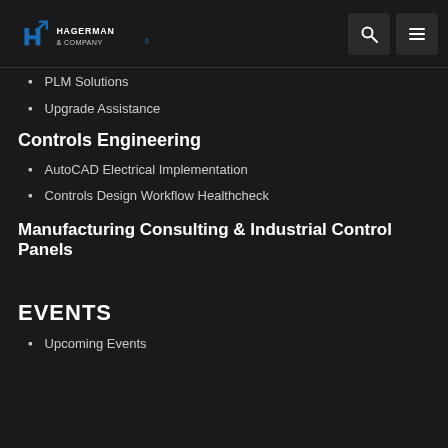Hagerman & Company
PLM Solutions
Upgrade Assistance
Controls Engineering
AutoCAD Electrical Implementation
Controls Design Workflow Healthcheck
Manufacturing Consulting & Industrial Control Panels
EVENTS
Upcoming Events